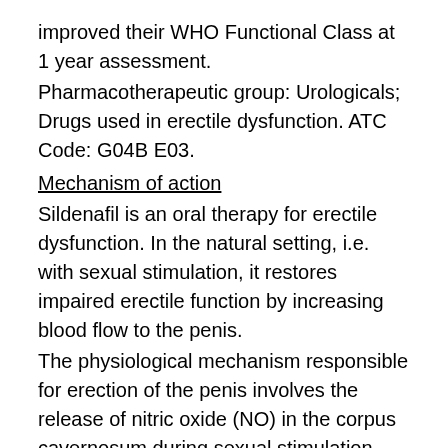improved their WHO Functional Class at 1 year assessment.
Pharmacotherapeutic group: Urologicals; Drugs used in erectile dysfunction. ATC Code: G04B E03.
Mechanism of action
Sildenafil is an oral therapy for erectile dysfunction. In the natural setting, i.e. with sexual stimulation, it restores impaired erectile function by increasing blood flow to the penis.
The physiological mechanism responsible for erection of the penis involves the release of nitric oxide (NO) in the corpus cavernosum during sexual stimulation. Nitric oxide then activates the enzyme guanylate cyclase, which results in increased levels of cyclic guanosine monophosphate (cGMP), producing smooth